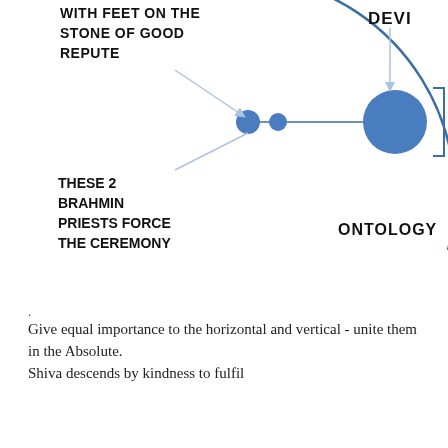[Figure (schematic): Diagram showing an ontology circle with two small blue filled circles inside connected by a line to a larger blue filled circle outside the circle boundary. Labels: 'WITH FEET ON THE STONE OF GOOD REPUTE' pointing to the left-inner small circles, 'DEVI' with arrow pointing to the large right circle, 'THESE 2 BRAHMIN PRIESTS FORCE THE CEREMONY' pointing to the two inner circles, 'ONTOLOGY' labeling the large arc circle boundary.]
.
Give equal importance to the horizontal and vertical - unite them in the Absolute.
Shiva descends by kindness to fulfil